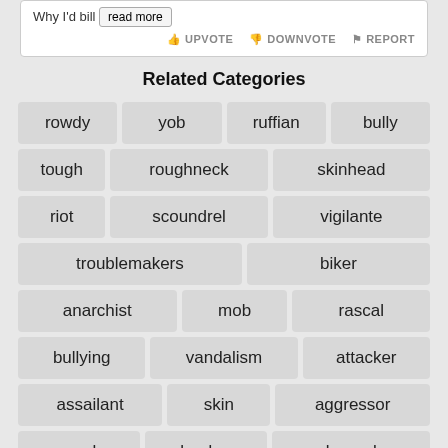Why I'd bill read more
UPVOTE   DOWNVOTE   REPORT
Related Categories
rowdy
yob
ruffian
bully
tough
roughneck
skinhead
riot
scoundrel
vigilante
troublemakers
biker
anarchist
mob
rascal
bullying
vandalism
attacker
assailant
skin
aggressor
muscle
london
plug-ugly